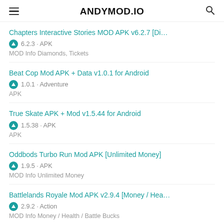ANDYMOD.IO
Chapters Interactive Stories MOD APK v6.2.7 [Di…
6.2.3 · APK
MOD Info Diamonds, Tickets
Beat Cop Mod APK + Data v1.0.1 for Android
1.0.1 · Adventure
APK
True Skate APK + Mod v1.5.44 for Android
1.5.38 · APK
APK
Oddbods Turbo Run Mod APK [Unlimited Money]
1.9.5 · APK
MOD Info Unlimited Money
Battlelands Royale Mod APK v2.9.4 [Money / Hea…
2.9.2 · Action
MOD Info Money / Health / Battle Bucks